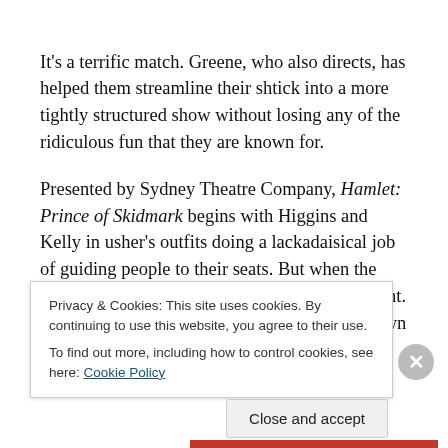It's a terrific match. Greene, who also directs, has helped them streamline their shtick into a more tightly structured show without losing any of the ridiculous fun that they are known for.
Presented by Sydney Theatre Company, Hamlet: Prince of Skidmark begins with Higgins and Kelly in usher's outfits doing a lackadaisical job of guiding people to their seats. But when the lights go up on stage, there's not an actor in sight. It turns out they are all suffering from "the brown
Privacy & Cookies: This site uses cookies. By continuing to use this website, you agree to their use.
To find out more, including how to control cookies, see here: Cookie Policy
Close and accept